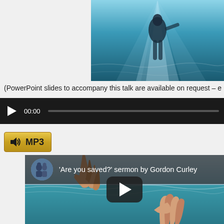[Figure (photo): Underwater scene showing a person or figure beneath water surface with light rays coming through from above, teal/blue tones]
(PowerPoint slides to accompany this talk are available on request – e
[Figure (screenshot): Audio player bar with play button, timestamp 00:00, and a progress bar on dark background]
[Figure (other): MP3 download button with speaker/volume icon in yellow/gold color]
[Figure (screenshot): YouTube video thumbnail showing 'Are you saved?' sermon by Gordon Curley, with channel avatar, ocean scene with two hands reaching toward each other, and YouTube play button overlay]